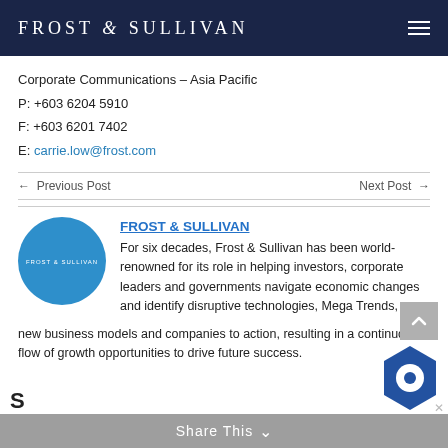FROST & SULLIVAN
Corporate Communications – Asia Pacific
P: +603 6204 5910
F: +603 6201 7402
E: carrie.low@frost.com
← Previous Post
Next Post →
[Figure (logo): Frost & Sullivan circular blue logo]
FROST & SULLIVAN
For six decades, Frost & Sullivan has been world-renowned for its role in helping investors, corporate leaders and governments navigate economic changes and identify disruptive technologies, Mega Trends, new business models and companies to action, resulting in a continuous flow of growth opportunities to drive future success.
Share This